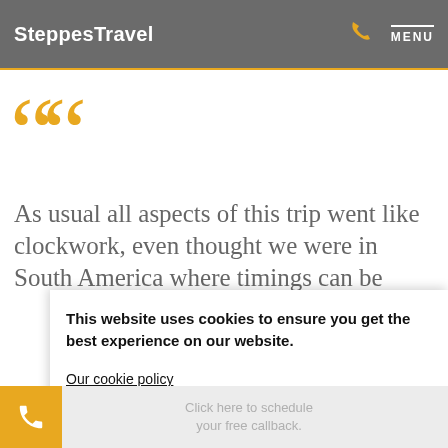SteppesTravel  MENU
[Figure (other): Large golden opening double quotation marks decorative element]
As usual all aspects of this trip went like clockwork, even thought we were in South America where timings can be
This website uses cookies to ensure you get the best experience on our website.
Our cookie policy
I AGREE
Click here to schedule your free callback.